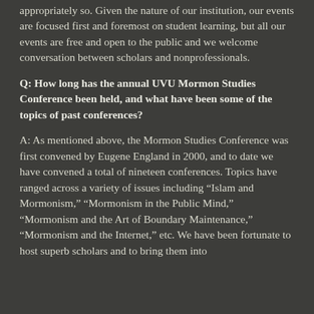appropriately so. Given the nature of our institution, our events are focused first and foremost on student learning, but all our events are free and open to the public and we welcome conversation between scholars and nonprofessionals.
Q: How long has the annual UVU Mormon Studies Conference been held, and what have been some of the topics of past conferences?
A: As mentioned above, the Mormon Studies Conference was first convened by Eugene England in 2000, and to date we have convened a total of nineteen conferences. Topics have ranged across a variety of issues including “Islam and Mormonism,” “Mormonism in the Public Mind,” “Mormonism and the Art of Boundary Maintenance,” “Mormonism and the Internet,” etc. We have been fortunate to host superb scholars and to bring them into